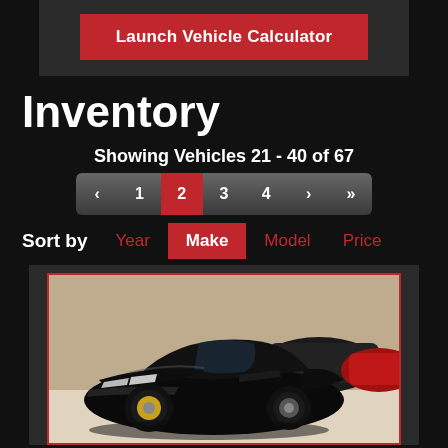[Figure (screenshot): Dark-themed car dealership website UI showing a 'Launch Vehicle Calculator' button, Inventory section with pagination showing vehicles 21-40 of 67, sort by options (Year, Make, Model, Price) with Make selected, and a car listing with a black sports car (Ferrari) in a dealership showroom]
Launch Vehicle Calculator
Inventory
Showing Vehicles 21 - 40 of 67
‹  1  2  3  4  ›  »
Sort by   Year   Make   Model   Price